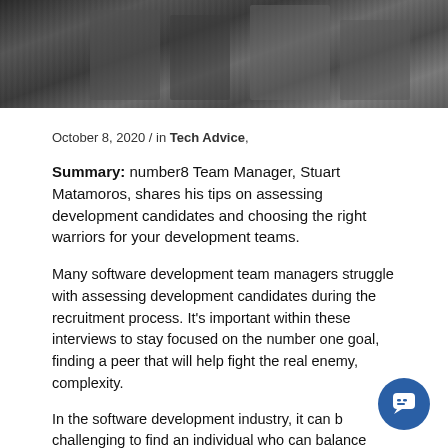[Figure (photo): Black and white photograph showing people, partially cropped at top of page]
October 8, 2020 / in Tech Advice,
Summary: number8 Team Manager, Stuart Matamoros, shares his tips on assessing development candidates and choosing the right warriors for your development teams.
Many software development team managers struggle with assessing development candidates during the recruitment process. It's important within these interviews to stay focused on the number one goal, finding a peer that will help fight the real enemy, complexity.
In the software development industry, it can be challenging to find an individual who can balance